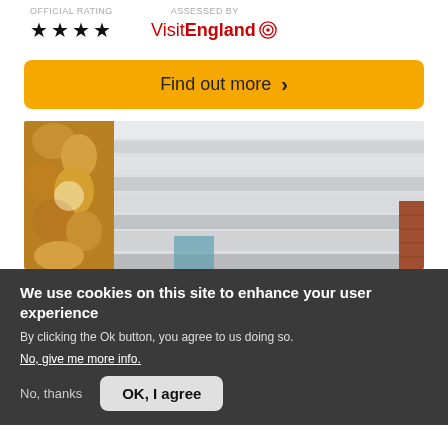OFFICIAL RATING   ASSESSED BY
★★★★  VisitEngland
[Figure (screenshot): Yellow 'Find out more >' button]
[Figure (photo): Interior photo showing an ornate chandelier on the left and a striped white ceiling with brick wall visible on the right]
We use cookies on this site to enhance your user experience
By clicking the Ok button, you agree to us doing so.
No, give me more info.
No, thanks   OK, I agree